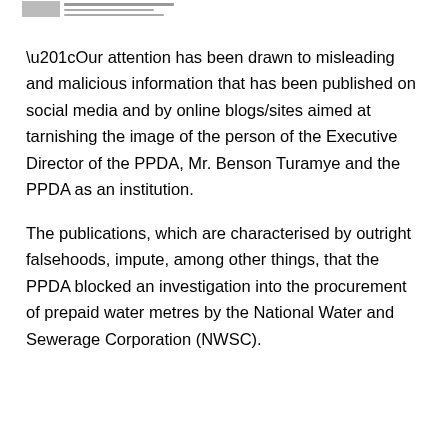[Figure (logo): PPDA logo/header image in top left corner]
“Our attention has been drawn to misleading and malicious information that has been published on social media and by online blogs/sites aimed at tarnishing the image of the person of the Executive Director of the PPDA, Mr. Benson Turamye and the PPDA as an institution.
The publications, which are characterised by outright falsehoods, impute, among other things, that the PPDA blocked an investigation into the procurement of prepaid water metres by the National Water and Sewerage Corporation (NWSC).